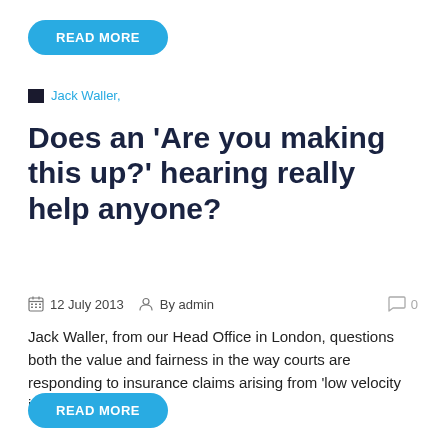[Figure (other): Blue 'READ MORE' pill-shaped button at top of page]
Jack Waller,
Does an 'Are you making this up?' hearing really help anyone?
12 July 2013  By admin  0
Jack Waller, from our Head Office in London, questions both the value and fairness in the way courts are responding to insurance claims arising from 'low velocity impacts'…
[Figure (other): Blue 'READ MORE' pill-shaped button at bottom of page]